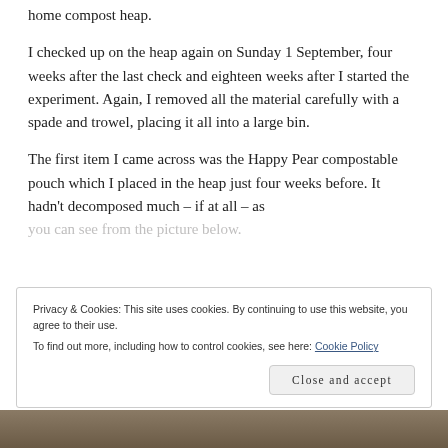home compost heap.
I checked up on the heap again on Sunday 1 September, four weeks after the last check and eighteen weeks after I started the experiment. Again, I removed all the material carefully with a spade and trowel, placing it all into a large bin.
The first item I came across was the Happy Pear compostable pouch which I placed in the heap just four weeks before. It hadn't decomposed much – if at all – as you can see from the picture below.
Privacy & Cookies: This site uses cookies. By continuing to use this website, you agree to their use.
To find out more, including how to control cookies, see here: Cookie Policy
Close and accept
[Figure (photo): Bottom strip showing a photograph, partially visible at the bottom of the page]